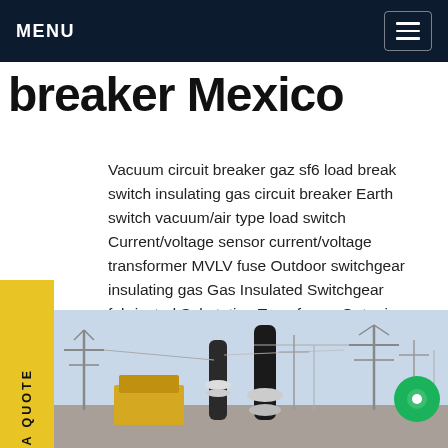MENU
breaker Mexico
Vacuum circuit breaker gaz sf6 load break switch insulating gas circuit breaker Earth switch vacuum/air type load switch Current/voltage sensor current/voltage transformer MVLV fuse Outdoor switchgear insulating gas Gas Insulated Switchgear fabricated Substation TransformerGet price
[Figure (photo): Outdoor electrical substation with high-voltage transformer and transmission line structures visible against a light sky.]